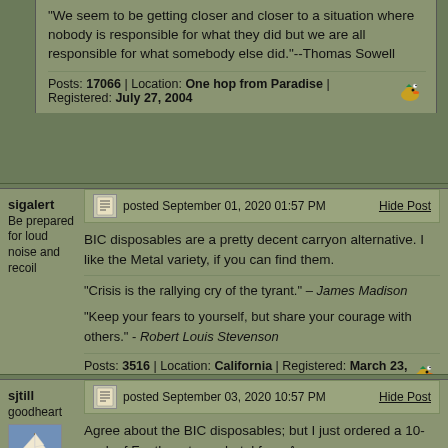"We seem to be getting closer and closer to a situation where nobody is responsible for what they did but we are all responsible for what somebody else did."--Thomas Sowell
Posts: 17066 | Location: One hop from Paradise | Registered: July 27, 2004
sigalert
Be prepared for loud noise and recoil
posted September 01, 2020 01:57 PM
Hide Post
BIC disposables are a pretty decent carryon alternative. I like the Metal variety, if you can find them.
“Crisis is the rallying cry of the tyrant.” – James Madison

"Keep your fears to yourself, but share your courage with others." - Robert Louis Stevenson
Posts: 3516 | Location: California | Registered: March 23, 2006
sjtill
goodheart
posted September 03, 2020 10:57 PM
Hide Post
Agree about the BIC disposables; but I just ordered a 10-pack of Feathers to my hotel from Amazon.